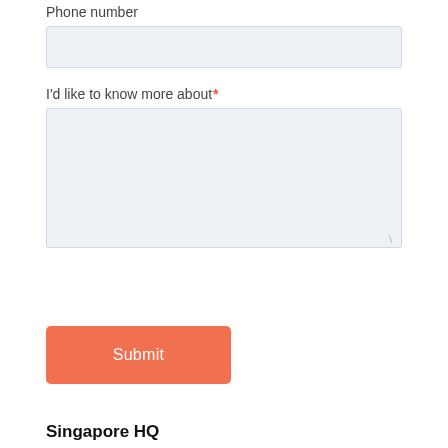Phone number
I'd like to know more about*
Submit
Singapore HQ
Crayon Data Private Ltd,
18 Cross Street,